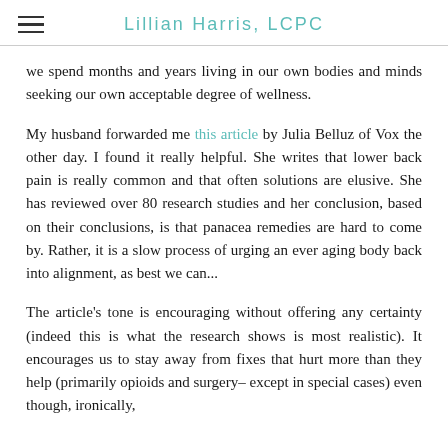Lillian Harris, LCPC
we spend months and years living in our own bodies and minds seeking our own acceptable degree of wellness.
My husband forwarded me this article by Julia Belluz of Vox the other day. I found it really helpful. She writes that lower back pain is really common and that often solutions are elusive. She has reviewed over 80 research studies and her conclusion, based on their conclusions, is that panacea remedies are hard to come by. Rather, it is a slow process of urging an ever aging body back into alignment, as best we can...
The article's tone is encouraging without offering any certainty (indeed this is what the research shows is most realistic). It encourages us to stay away from fixes that hurt more than they help (primarily opioids and surgery– except in special cases) even though, ironically,